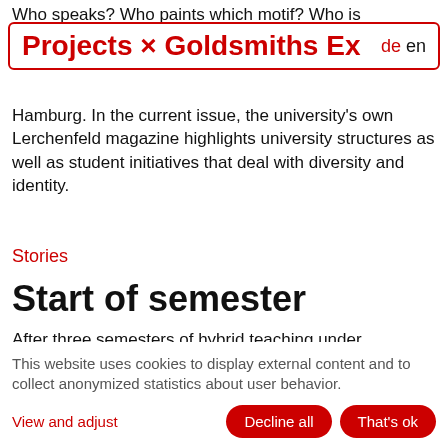Who speaks? Who paints which motif? Who is
Projects × Goldsmiths Ex de en
Hamburg. In the current issue, the university's own Lerchenfeld magazine highlights university structures as well as student initiatives that deal with diversity and identity.
Stories
Start of semester
After three semesters of hybrid teaching under pandemic conditions, we are finally about to start another semester of presence. We welcome all new students and teachers at the HFBK Hamburg and
This website uses cookies to display external content and to collect anonymized statistics about user behavior.
View and adjust
Decline all   That's ok